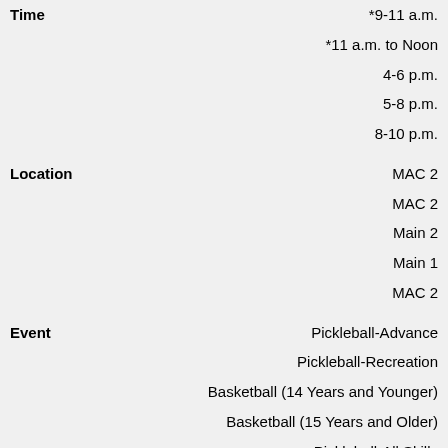| Field | Value |
| --- | --- |
| Time | *9-11 a.m.
*11 a.m. to Noon
4-6 p.m.
5-8 p.m.
8-10 p.m. |
| Location | MAC 2
MAC 2
Main 2
Main 1
MAC 2 |
| Event | Pickleball-Advance
Pickleball-Recreation
Basketball (14 Years and Younger)
Basketball (15 Years and Older)
Pickleball-All Skills |
| Day | Saturday |
| Time | 6-8:30 a.m.
1-5 p.m.
2-4:30 p.m. |